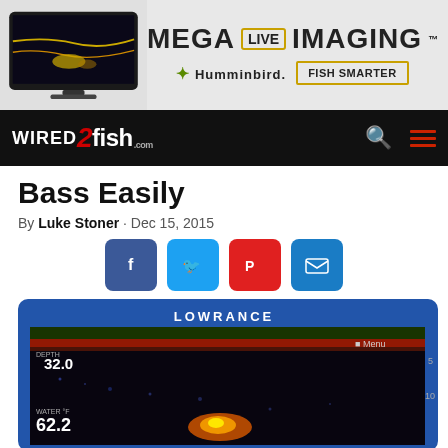[Figure (photo): Advertisement banner for Humminbird Mega Live Imaging fish finder with device image on left and text/logo on right]
wired2fish.com navigation bar with logo and search/menu icons
Bass Easily
By Luke Stoner · Dec 15, 2015
[Figure (infographic): Social sharing buttons: Facebook, Twitter, Flipboard, Email]
[Figure (photo): Lowrance fish finder device screen showing sonar/sonar imaging display with depth reading 32.0 and water temperature 62.2]